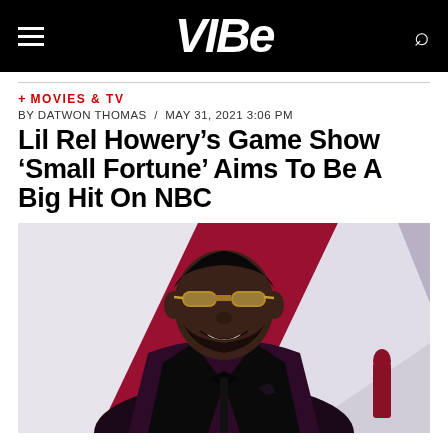VIBE
+ MOVIES & TV
BY DATWON THOMAS / MAY 31, 2021 3:06 PM
Lil Rel Howery’s Game Show ‘Small Fortune’ Aims To Be A Big Hit On NBC
[Figure (photo): Lil Rel Howery wearing a dark burgundy velvet suit with black lapels and bow tie, gold-tinted sunglasses, smiling at what appears to be a red carpet event with a geometric background.]